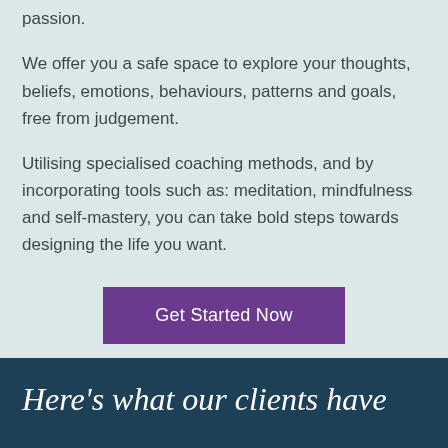passion.
We offer you a safe space to explore your thoughts, beliefs, emotions, behaviours, patterns and goals, free from judgement.
Utilising specialised coaching methods, and by incorporating tools such as: meditation, mindfulness and self-mastery, you can take bold steps towards designing the life you want.
Get Started Now
Here's what our clients have